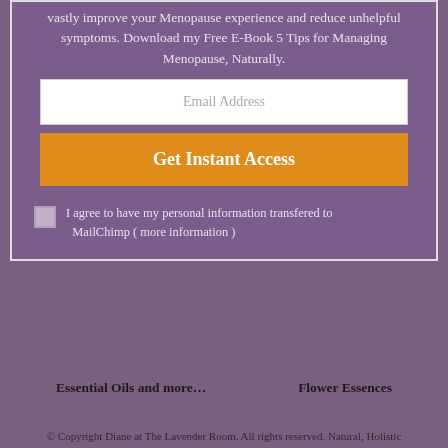vastly improve your Menopause experience and reduce unhelpful symptoms. Download my Free E-Book 5 Tips for Managing Menopause, Naturally.
Email Address
Get Instant Access
I agree to have my personal information transfered to MailChimp ( more information )
Essential Oils and more...
Flower Essences
© Copyright Diane at The Lavender Room. All rights reserved. Natural, Holistic